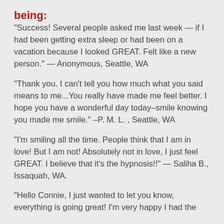being:
“Success!  Several people asked me last week — if I had been getting extra sleep or had been on a vacation because I looked GREAT.  Felt like a new person.”  — Anonymous, Seattle, WA
“Thank you. I can’t tell you how much what you said means to me…You really have made me feel better. I hope you have a wonderful day today–smile knowing you made me smile.”  –P. M. L. , Seattle, WA
“I’m smiling all the time.  People think that I am in love!  But I am not!  Absolutely not in love, I just feel GREAT.  I believe that it’s the hypnosis!!”  —  Saliha B., Issaquah, WA.
“Hello Connie, I just wanted to let you know, everything is going great! I’m very happy I had the